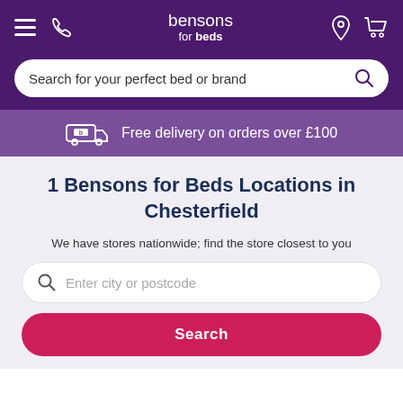bensons for beds
Search for your perfect bed or brand
Free delivery on orders over £100
1 Bensons for Beds Locations in Chesterfield
We have stores nationwide; find the store closest to you
Enter city or postcode
Search